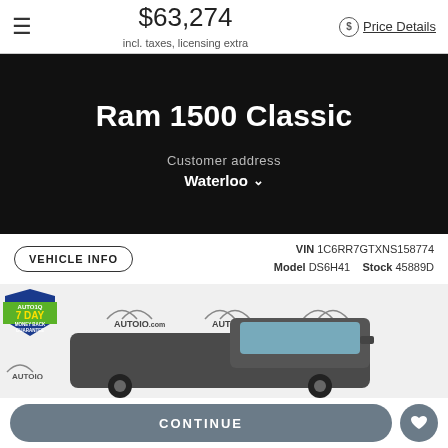$63,274 incl. taxes, licensing extra Price Details
Ram 1500 Classic
Customer address Waterloo
VEHICLE INFO  VIN 1C6RR7GTXNS158774  Model DS6H41  Stock 45889D
[Figure (photo): Ram 1500 Classic truck photographed in front of an AutoIQ.com branded backdrop; also shows a 7 Day Money Back Guarantee badge.]
CONTINUE